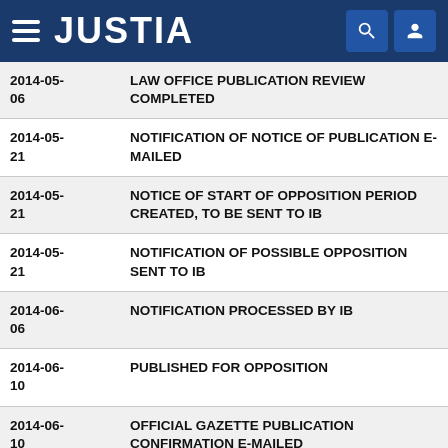JUSTIA
| Date | Event |
| --- | --- |
| 2014-05-06 | LAW OFFICE PUBLICATION REVIEW COMPLETED |
| 2014-05-21 | NOTIFICATION OF NOTICE OF PUBLICATION E-MAILED |
| 2014-05-21 | NOTICE OF START OF OPPOSITION PERIOD CREATED, TO BE SENT TO IB |
| 2014-05-21 | NOTIFICATION OF POSSIBLE OPPOSITION SENT TO IB |
| 2014-06-06 | NOTIFICATION PROCESSED BY IB |
| 2014-06-10 | PUBLISHED FOR OPPOSITION |
| 2014-06-10 | OFFICIAL GAZETTE PUBLICATION CONFIRMATION E-MAILED |
| 2014-09-... | REGISTERED, PRINCIPAL REGISTER |